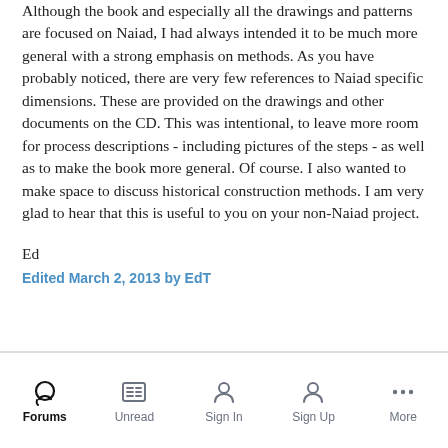Although the book and especially all the drawings and patterns are focused on Naiad, I had always intended it to be much more general with a strong emphasis on methods. As you have probably noticed, there are very few references to Naiad specific dimensions. These are provided on the drawings and other documents on the CD. This was intentional, to leave more room for process descriptions - including pictures of the steps - as well as to make the book more general. Of course. I also wanted to make space to discuss historical construction methods. I am very glad to hear that this is useful to you on your non-Naiad project.
Ed
Edited March 2, 2013 by EdT
Forums | Unread | Sign In | Sign Up | More